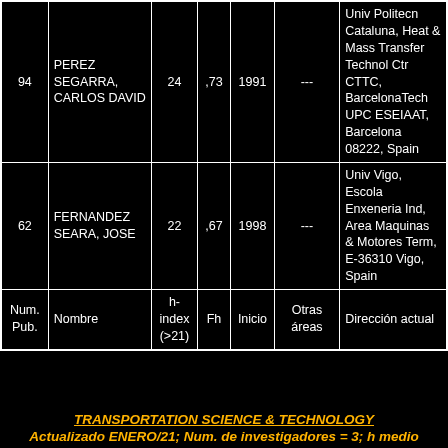| Num. Pub. | Nombre | h-index (>21) | Fh | Inicio | Otras áreas | Dirección actual |
| --- | --- | --- | --- | --- | --- | --- |
| 94 | PEREZ SEGARRA, CARLOS DAVID | 24 | ,73 | 1991 | --- | Univ Politecn Cataluna, Heat & Mass Transfer Technol Ctr CTTC, BarcelonaTech UPC ESEIAAT, Barcelona 08222, Spain |
| 62 | FERNANDEZ SEARA, JOSE | 22 | ,67 | 1998 | --- | Univ Vigo, Escola Enxeneria Ind, Area Maquinas & Motores Term, E-36310 Vigo, Spain |
| Num. Pub. | Nombre | h-index (>21) | Fh | Inicio | Otras áreas | Dirección actual |
TRANSPORTATION SCIENCE & TECHNOLOGY
Actualizado ENERO/21; Num. de investigadores = 3; h medio